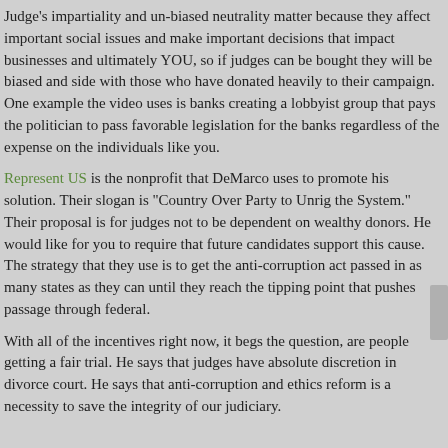Judge's impartiality and un-biased neutrality matter because they affect important social issues and make important decisions that impact businesses and ultimately YOU, so if judges can be bought they will be biased and side with those who have donated heavily to their campaign. One example the video uses is banks creating a lobbyist group that pays the politician to pass favorable legislation for the banks regardless of the expense on the individuals like you.
Represent US is the nonprofit that DeMarco uses to promote his solution. Their slogan is "Country Over Party to Unrig the System." Their proposal is for judges not to be dependent on wealthy donors. He would like for you to require that future candidates support this cause. The strategy that they use is to get the anti-corruption act passed in as many states as they can until they reach the tipping point that pushes passage through federal.
With all of the incentives right now, it begs the question, are people getting a fair trial. He says that judges have absolute discretion in divorce court. He says that anti-corruption and ethics reform is a necessity to save the integrity of our judiciary.